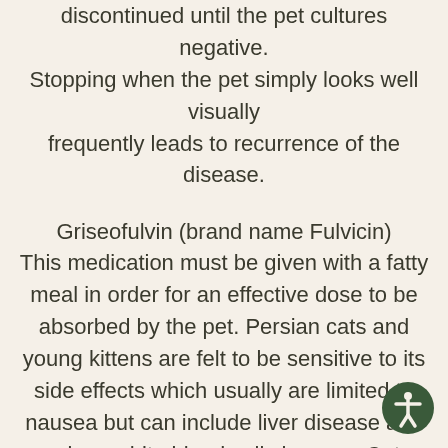discontinued until the pet cultures negative. Stopping when the pet simply looks well visually frequently leads to recurrence of the disease.
Griseofulvin (brand name Fulvicin)
This medication must be given with a fatty meal in order for an effective dose to be absorbed by the pet. Persian cats and young kittens are felt to be sensitive to its side effects which usually are limited to nausea but can include liver disease and serious white blood cell changes. Cats infected with feline immunodeficiency virus (FIV) commonly develop life-threatening blood cell changes and should never be exposed to this medication. Despite the side effects, which can be severe for some individuals, griseofulvin is still traditional medication for the treatment of